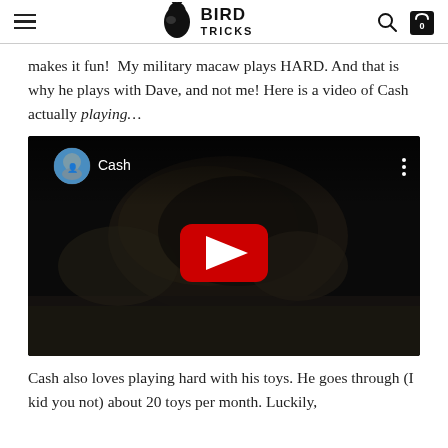Bird Tricks
makes it fun!  My military macaw plays HARD. And that is why he plays with Dave, and not me! Here is a video of Cash actually playing…
[Figure (screenshot): YouTube video embed showing a dark video of a bird (Cash) playing, with a channel avatar, the channel name 'Cash', a three-dot menu, and a red YouTube play button in the center.]
Cash also loves playing hard with his toys. He goes through (I kid you not) about 20 toys per month. Luckily,